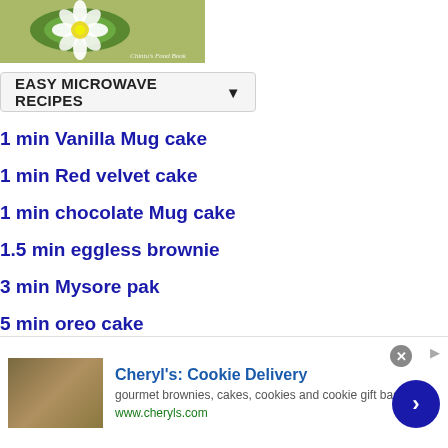[Figure (photo): Food photo showing a flower-shaped dish on a green leaf, with watermark 'Chintu's Food Book']
EASY MICROWAVE RECIPES
1 min Vanilla Mug cake
1 min Red velvet cake
1 min chocolate Mug cake
1.5 min eggless brownie
3 min Mysore pak
5 min oreo cake
Easy Homemade chocolates
HEALTH FOOD & DRINK
Cheryl's: Cookie Delivery
gourmet brownies, cakes, cookies and cookie gift baskets
www.cheryls.com